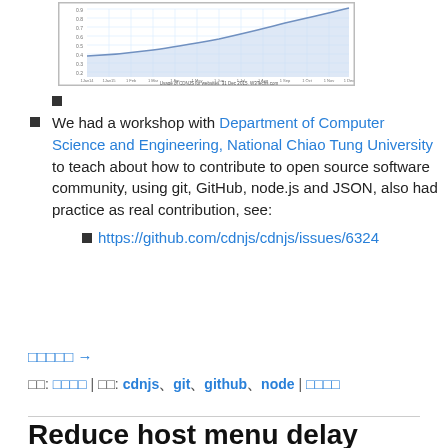[Figure (continuous-plot): Line chart showing usage of CDNJS for websites over time (roughly 0.4 to 0.9 range), labeled 'Usage of CDNJS for websites, 31 Dec 2015, W3Techs.com']
bullet (image placeholder)
We had a workshop with Department of Computer Science and Engineering, National Chiao Tung University to teach about how to contribute to open source software community, using git, GitHub, node.js and JSON, also had practice as real contribution, see:
• https://github.com/cdnjs/cdnjs/issues/6324
□□□□□ →
□□: □□□□ | □□: cdnjs、git、github、node | □□□□
Reduce host menu delay